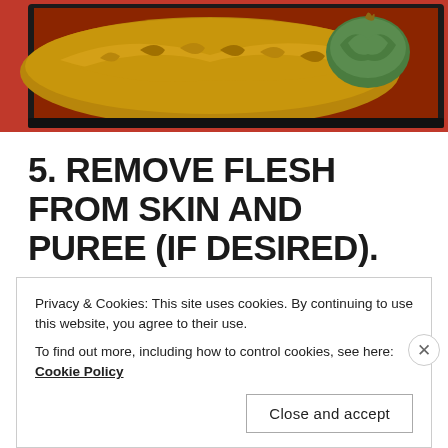[Figure (photo): Roasted squash/pumpkin on a dark baking tray with red background, shown from above. A green bumpy squash with dried stem visible in the upper right.]
5. REMOVE FLESH FROM SKIN AND PUREE (IF DESIRED).
Privacy & Cookies: This site uses cookies. By continuing to use this website, you agree to their use.
To find out more, including how to control cookies, see here: Cookie Policy
Close and accept